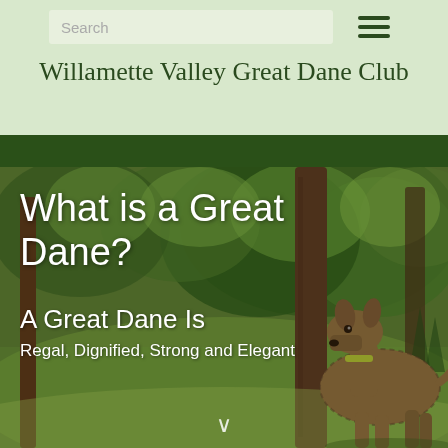Willamette Valley Great Dane Club
What is a Great Dane?
A Great Dane Is
Regal, Dignified, Strong and Elegant
[Figure (photo): A Great Dane dog standing outdoors among large trees with green foliage, in a natural landscape setting. The dog appears to be brindle-colored and is wearing a collar.]